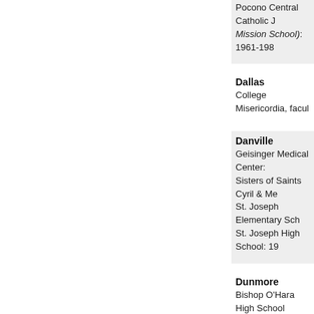Pocono Central Catholic J... Mission School): 1961-198...
Dallas
College Misericordia, facu...
Danville
Geisinger Medical Center:
Sisters of Saints Cyril & Me...
St. Joseph Elementary Sch...
St. Joseph High School: 19...
Dunmore
Bishop O'Hara High School...
Dunmore Central Catholic...
Christ the King Elementary...
Elizabeth Ann Seton Tutori...
Lackawanna County Hous...
St. Mary of Mt. Carmel Ch...
St. Mary of Mt. Carmel Sch...